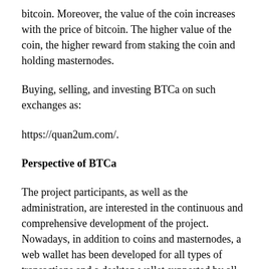bitcoin. Moreover, the value of the coin increases with the price of bitcoin. The higher value of the coin, the higher reward from staking the coin and holding masternodes.
Buying, selling, and investing BTCa on such exchanges as:
https://quan2um.com/.
Perspective of BTCa
The project participants, as well as the administration, are interested in the continuous and comprehensive development of the project. Nowadays, in addition to coins and masternodes, a web wallet has been developed for all types of transactions and a desktop wallet supported by all operating systems – Windows, Linux and MacOS for investors can create their own